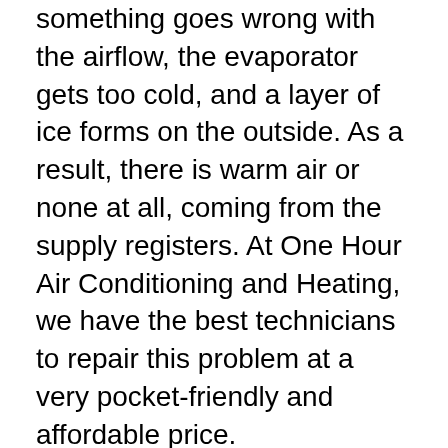something goes wrong with the airflow, the evaporator gets too cold, and a layer of ice forms on the outside. As a result, there is warm air or none at all, coming from the supply registers. At One Hour Air Conditioning and Heating, we have the best technicians to repair this problem at a very pocket-friendly and affordable price.
Dirty Condenser Coils:
The condenser coil sometimes gets covered with a layer of dirt and grime. This is a common problem, with all the soot and pollution in the air. This forces the unit to work harder, thus resulting in increased wear on the parts and sometimes even system failure. At One Hour Air Conditioning and Heating, we pride ourselves in giving the best services in a moment's notice to our customers.